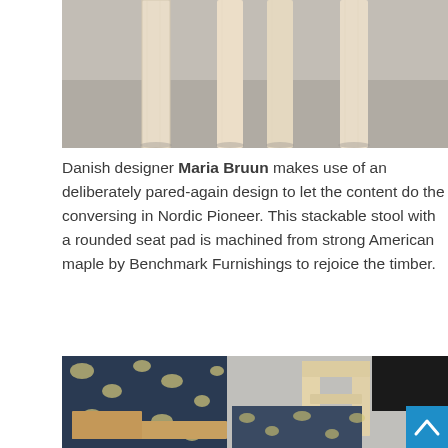[Figure (photo): Close-up photo of a wooden stool legs/frame in light maple wood against a grey background, top portion of the stool visible from below showing four rectangular wooden legs]
Danish designer Maria Bruun makes use of an deliberately pared-again design to let the content do the conversing in Nordic Pioneer. This stackable stool with a rounded seat pad is machined from strong American maple by Benchmark Furnishings to rejoice the timber.
[Figure (photo): Photo of wooden furniture pieces (chairs/stools in light maple/oak wood) displayed against a background of blue and cream patterned fabric/wallpaper with floral/damask motif. A blue scroll-to-top button with an upward arrow chevron is visible in the bottom right corner.]